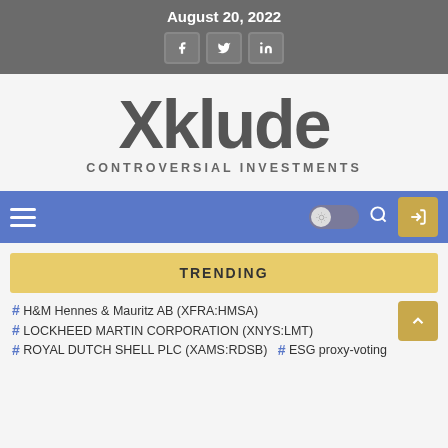August 20, 2022
[Figure (logo): Xklude Controversial Investments logo with social media icons (Facebook, Twitter, LinkedIn)]
Xklude
CONTROVERSIAL INVESTMENTS
[Figure (infographic): Navigation bar with hamburger menu, dark/light toggle, search icon, and login button on blue background]
TRENDING
# H&M Hennes & Mauritz AB (XFRA:HMSA)
# LOCKHEED MARTIN CORPORATION (XNYS:LMT)
# ROYAL DUTCH SHELL PLC (XAMS:RDSB)   # ESG proxy-voting